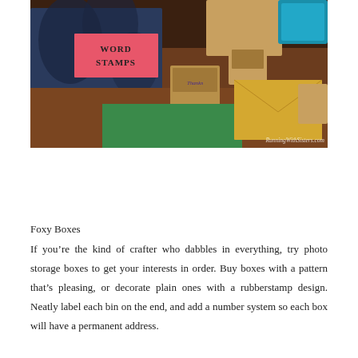[Figure (photo): Photo of word stamps, rubber stamps, ink pad, and envelopes on a wooden table. A box labeled 'Word Stamps' with a decorative pattern is visible. A watermark reads 'RunningWithSisters.com'.]
Foxy Boxes
If you're the kind of crafter who dabbles in everything, try photo storage boxes to get your interests in order. Buy boxes with a pattern that's pleasing, or decorate plain ones with a rubberstamp design. Neatly label each bin on the end, and add a number system so each box will have a permanent address.